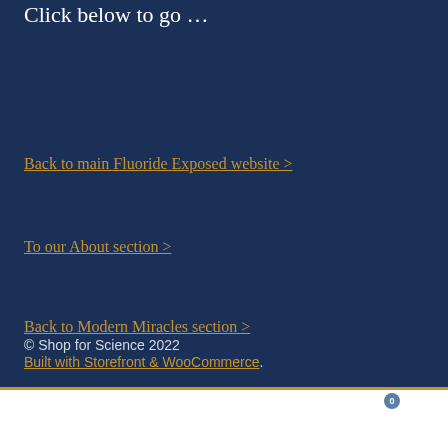Click below to go …
Back to main Fluoride Exposed website >
To our About section >
Back to Modern Miracles section >
© Shop for Science 2022 Built with Storefront & WooCommerce.
[Figure (other): Bottom navigation bar with person/account icon, search icon, and shopping cart icon with badge showing 0]